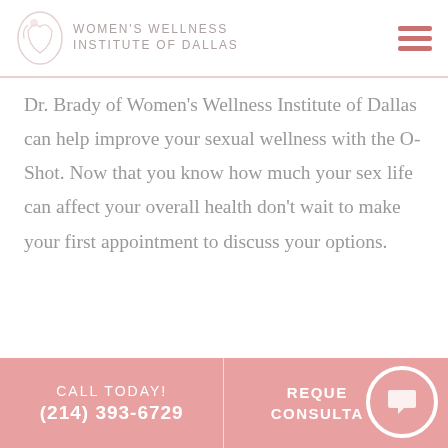WOMEN'S WELLNESS INSTITUTE OF DALLAS
Dr. Brady of Women's Wellness Institute of Dallas can help improve your sexual wellness with the O-Shot. Now that you know how much your sex life can affect your overall health don't wait to make your first appointment to discuss your options.
Contact her office today by calling (214) 393-6729 and schedule your initial consultation!
CALL TODAY! (214) 393-6729 | REQUEST CONSULTATION